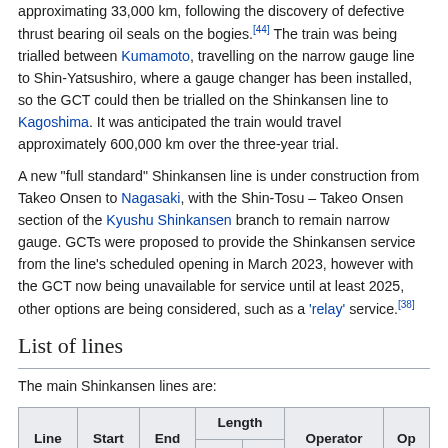approximating 33,000 km, following the discovery of defective thrust bearing oil seals on the bogies.[44] The train was being trialled between Kumamoto, travelling on the narrow gauge line to Shin-Yatsushiro, where a gauge changer has been installed, so the GCT could then be trialled on the Shinkansen line to Kagoshima. It was anticipated the train would travel approximately 600,000 km over the three-year trial.
A new "full standard" Shinkansen line is under construction from Takeo Onsen to Nagasaki, with the Shin-Tosu – Takeo Onsen section of the Kyushu Shinkansen branch to remain narrow gauge. GCTs were proposed to provide the Shinkansen service from the line's scheduled opening in March 2023, however with the GCT now being unavailable for service until at least 2025, other options are being considered, such as a 'relay' service.[38]
List of lines
The main Shinkansen lines are:
| Line | Start | End | Length km | Length mi | Operator | Op |
| --- | --- | --- | --- | --- | --- | --- |